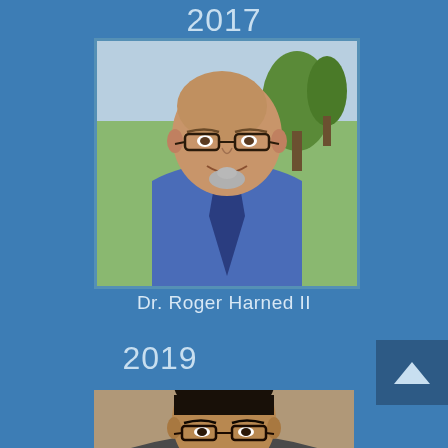2017
[Figure (photo): Professional headshot of Dr. Roger Harned II, a bald man with glasses and a goatee wearing a blue shirt and tie, photographed outdoors with green foliage background]
Dr. Roger Harned II
2019
[Figure (photo): Professional headshot of a person with dark hair and glasses, partially visible, photographed against a neutral background]